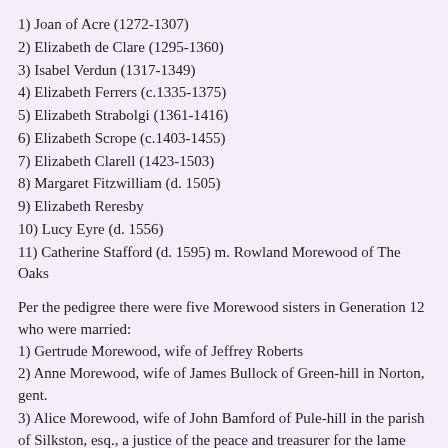1) Joan of Acre (1272-1307)
2) Elizabeth de Clare (1295-1360)
3) Isabel Verdun (1317-1349)
4) Elizabeth Ferrers (c.1335-1375)
5) Elizabeth Strabolgi (1361-1416)
6) Elizabeth Scrope (c.1403-1455)
7) Elizabeth Clarell (1423-1503)
8) Margaret Fitzwilliam (d. 1505)
9) Elizabeth Reresby
10) Lucy Eyre (d. 1556)
11) Catherine Stafford (d. 1595) m. Rowland Morewood of The Oaks
Per the pedigree there were five Morewood sisters in Generation 12 who were married:
1) Gertrude Morewood, wife of Jeffrey Roberts
2) Anne Morewood, wife of James Bullock of Green-hill in Norton, gent.
3) Alice Morewood, wife of John Bamford of Pule-hill in the parish of Silkston, esq., a justice of the peace and treasurer for the lame soldiers
4) Elizabeth Morewood, wife of Ralph Greaves